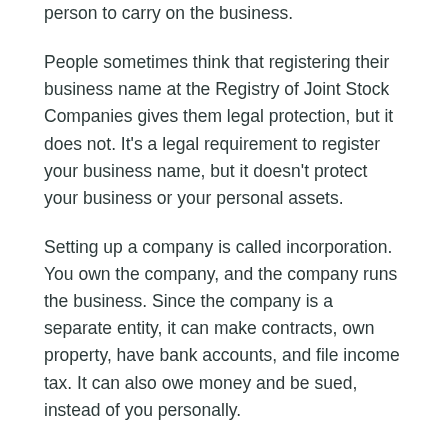person to carry on the business.
People sometimes think that registering their business name at the Registry of Joint Stock Companies gives them legal protection, but it does not. It's a legal requirement to register your business name, but it doesn't protect your business or your personal assets.
Setting up a company is called incorporation. You own the company, and the company runs the business. Since the company is a separate entity, it can make contracts, own property, have bank accounts, and file income tax. It can also owe money and be sued, instead of you personally.
The decision to set up a company depends on your circumstances and your business, and you should consider the following:
Do you have a lot of personal assets, such as a house